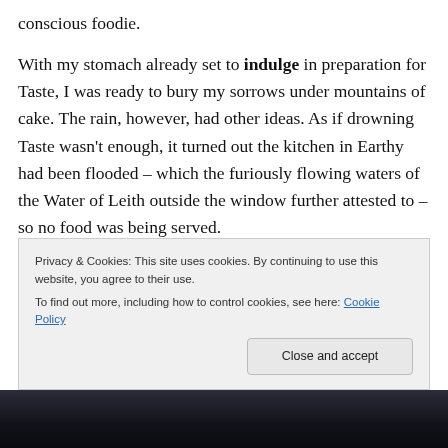conscious foodie.
With my stomach already set to indulge in preparation for Taste, I was ready to bury my sorrows under mountains of cake. The rain, however, had other ideas. As if drowning Taste wasn't enough, it turned out the kitchen in Earthy had been flooded – which the furiously flowing waters of the Water of Leith outside the window further attested to – so no food was being served.
We didn’t get lunch, but there was a small selection of
Privacy & Cookies: This site uses cookies. By continuing to use this website, you agree to their use.
To find out more, including how to control cookies, see here: Cookie Policy
[Figure (photo): Dark photo strip at bottom of page, partially visible]